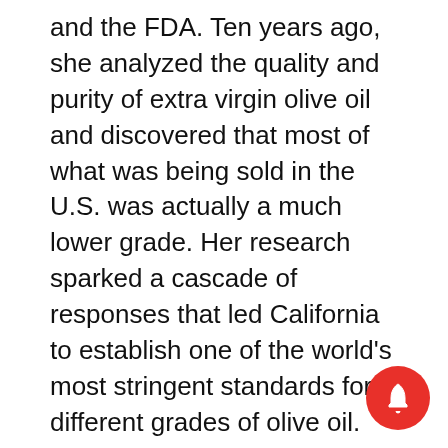and the FDA. Ten years ago, she analyzed the quality and purity of extra virgin olive oil and discovered that most of what was being sold in the U.S. was actually a much lower grade. Her research sparked a cascade of responses that led California to establish one of the world’s most stringent standards for different grades of olive oil. The FDA is working with importers and domestic producers to develop standards of identity for olive oil.
“Consumers seeking the health benefits of avocado oil deserve to get what they think they are buying,” Wang said. “Working together with the industry, we can establish standards and make sure customers are getting high-quality, authentic